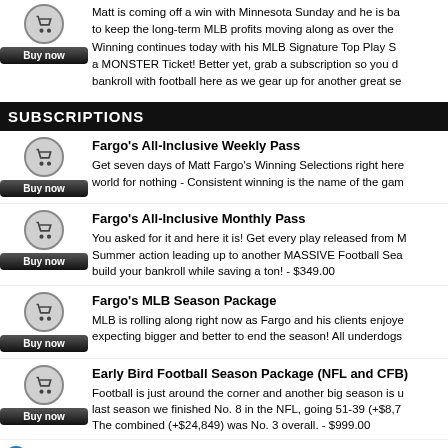Matt is coming off a win with Minnesota Sunday and he is ba to keep the long-term MLB profits moving along as over the Winning continues today with his MLB Signature Top Play S a MONSTER Ticket! Better yet, grab a subscription so you d bankroll with football here as we gear up for another great se
SUBSCRIPTIONS
Fargo's All-Inclusive Weekly Pass
Get seven days of Matt Fargo's Winning Selections right here world for nothing - Consistent winning is the name of the gam
Fargo's All-Inclusive Monthly Pass
You asked for it and here it is! Get every play released from M Summer action leading up to another MASSIVE Football Sea build your bankroll while saving a ton! - $349.00
Fargo's MLB Season Package
MLB is rolling along right now as Fargo and his clients enjoye expecting bigger and better to end the season! All underdogs
Early Bird Football Season Package (NFL and CFB)
Football is just around the corner and another big season is u last season we finished No. 8 in the NFL, going 51-39 (+$8,7 The combined (+$24,849) was No. 3 overall. - $999.00
Articles
No articles found.